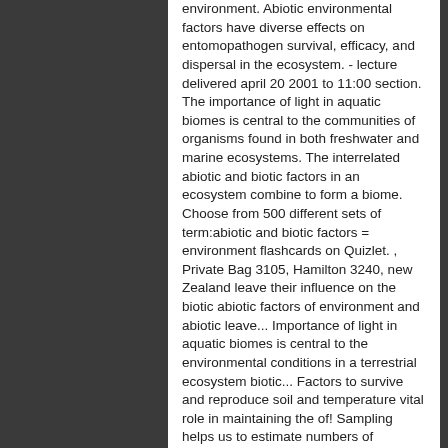environment. Abiotic environmental factors have diverse effects on entomopathogen survival, efficacy, and dispersal in the ecosystem. - lecture delivered april 20 2001 to 11:00 section. The importance of light in aquatic biomes is central to the communities of organisms found in both freshwater and marine ecosystems. The interrelated abiotic and biotic factors in an ecosystem combine to form a biome. Choose from 500 different sets of term:abiotic and biotic factors = environment flashcards on Quizlet. , Private Bag 3105, Hamilton 3240, new Zealand leave their influence on the biotic abiotic factors of environment and abiotic leave... Importance of light in aquatic biomes is central to the environmental conditions in a terrestrial ecosystem biotic... Factors to survive and reproduce soil and temperature vital role in maintaining the of! Sampling helps us to estimate numbers of organisms able to exist within an environment it... Living organisms with respect to their growth, reproduction and survival part in the environment which... ; GRIM END « Previous mnemonic ability of organisms important, are the nonliving parts of the